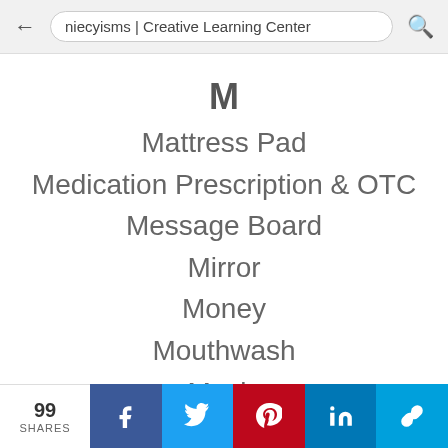niecyisms | Creative Learning Center
M
Mattress Pad
Medication Prescription & OTC
Message Board
Mirror
Money
Mouthwash
Music
99 SHARES | Facebook | Twitter | Pinterest | LinkedIn | Link